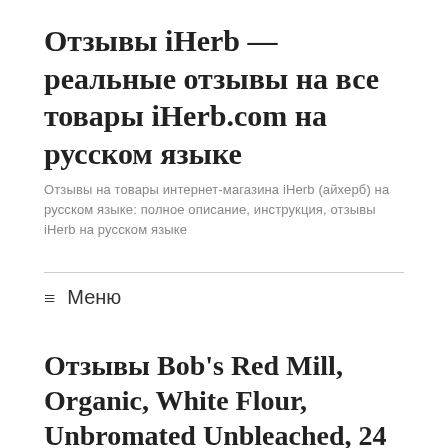Отзывы iHerb — реальные отзывы на все товары iHerb.com на русском языке
Отзывы на товары интернет-магазина iHerb (айхерб) на русском языке: полное описание, инструкция, отзывы iHerb на русском языке
≡ Меню
Отзывы Bob's Red Mill, Organic, White Flour, Unbromated Unbleached, 24 oz (680 g), листинги на